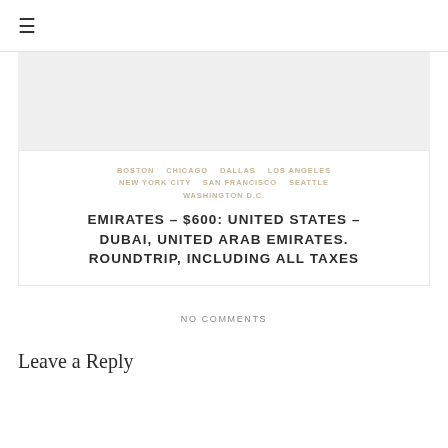☰
[Figure (other): Light gray image placeholder rectangle]
BOSTON  CHICAGO  DALLAS  LOS ANGELES  NEW YORK CITY  SAN FRANCISCO  SEATTLE  WASHINGTON D.C.
EMIRATES – $600: UNITED STATES – DUBAI, UNITED ARAB EMIRATES. ROUNDTRIP, INCLUDING ALL TAXES
NO COMMENTS
Leave a Reply